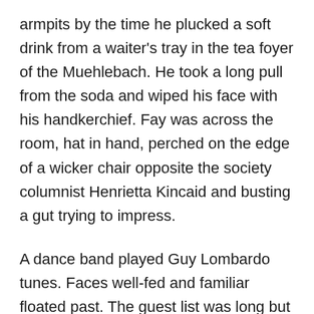armpits by the time he plucked a soft drink from a waiter's tray in the tea foyer of the Muehlebach. He took a long pull from the soda and wiped his face with his handkerchief. Fay was across the room, hat in hand, perched on the edge of a wicker chair opposite the society columnist Henrietta Kincaid and busting a gut trying to impress.
A dance band played Guy Lombardo tunes. Faces well-fed and familiar floated past. The guest list was long but not diverse. It was south-side and deep-lawned. Made up of Mission Hills and other Ward 16 residents who voted a straight